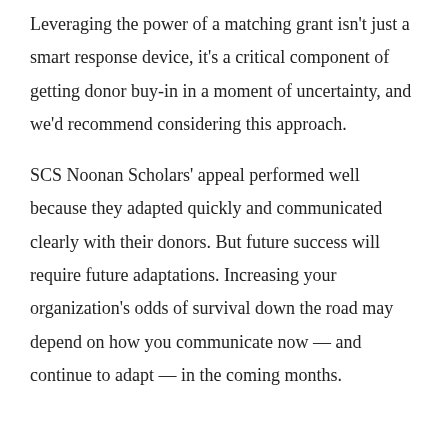Leveraging the power of a matching grant isn't just a smart response device, it's a critical component of getting donor buy-in in a moment of uncertainty, and we'd recommend considering this approach.

SCS Noonan Scholars' appeal performed well because they adapted quickly and communicated clearly with their donors. But future success will require future adaptations. Increasing your organization's odds of survival down the road may depend on how you communicate now — and continue to adapt — in the coming months.